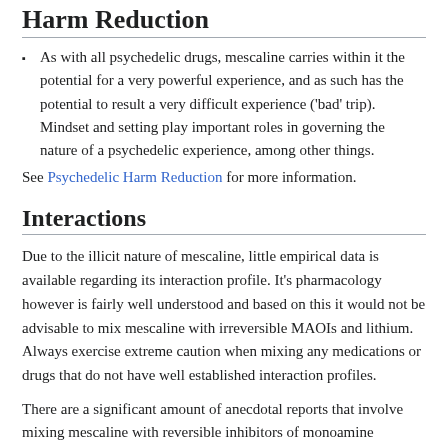Harm Reduction
As with all psychedelic drugs, mescaline carries within it the potential for a very powerful experience, and as such has the potential to result a very difficult experience ('bad' trip). Mindset and setting play important roles in governing the nature of a psychedelic experience, among other things.
See Psychedelic Harm Reduction for more information.
Interactions
Due to the illicit nature of mescaline, little empirical data is available regarding its interaction profile. It's pharmacology however is fairly well understood and based on this it would not be advisable to mix mescaline with irreversible MAOIs and lithium. Always exercise extreme caution when mixing any medications or drugs that do not have well established interaction profiles.
There are a significant amount of anecdotal reports that involve mixing mescaline with reversible inhibitors of monoamine